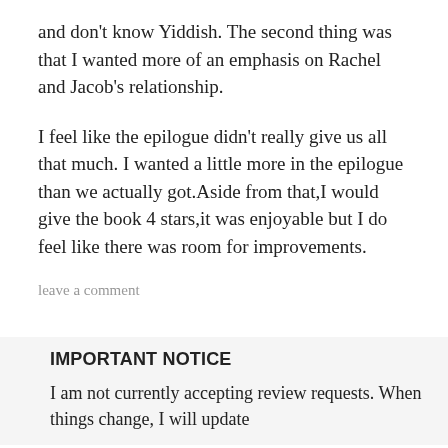and don't know Yiddish. The second thing was that I wanted more of an emphasis on Rachel and Jacob's relationship.
I feel like the epilogue didn't really give us all that much. I wanted a little more in the epilogue than we actually got.Aside from that,I would give the book 4 stars,it was enjoyable but I do feel like there was room for improvements.
leave a comment
IMPORTANT NOTICE
I am not currently accepting review requests. When things change, I will update